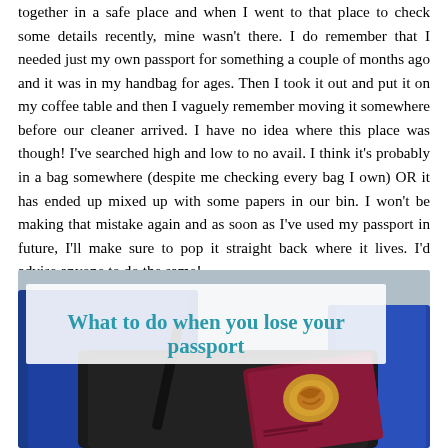together in a safe place and when I went to that place to check some details recently, mine wasn't there. I do remember that I needed just my own passport for something a couple of months ago and it was in my handbag for ages. Then I took it out and put it on my coffee table and then I vaguely remember moving it somewhere before our cleaner arrived. I have no idea where this place was though! I've searched high and low to no avail. I think it's probably in a bag somewhere (despite me checking every bag I own) OR it has ended up mixed up with some papers in our bin. I won't be making that mistake again and as soon as I've used my passport in future, I'll make sure to pop it straight back where it lives. I'd advise anyone to do the same!
[Figure (photo): Photo of a dark red/burgundy passport with gold emblem on the cover, sitting on top of luggage/bags, with blue bags visible in the background. A white overlay box contains the text 'What to do when you lose your passport' in teal/blue color.]